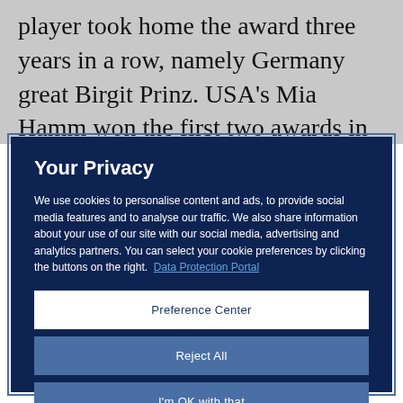player took home the award three years in a row, namely Germany great Birgit Prinz. USA's Mia Hamm won the first two awards in this category, with fellow American Carli Lloyd following in her footsteps in 2015
Your Privacy
We use cookies to personalise content and ads, to provide social media features and to analyse our traffic. We also share information about your use of our site with our social media, advertising and analytics partners. You can select your cookie preferences by clicking the buttons on the right.  Data Protection Portal
Preference Center
Reject All
I'm OK with that